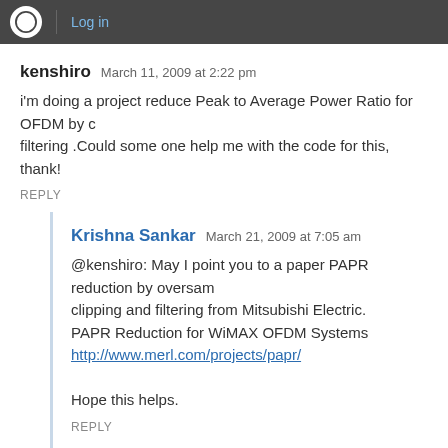Log in
kenshiro   March 11, 2009 at 2:22 pm
i'm doing a project reduce Peak to Average Power Ratio for OFDM by clipping and filtering .Could some one help me with the code for this, thank!
REPLY
Krishna Sankar   March 21, 2009 at 7:05 am
@kenshiro: May I point you to a paper PAPR reduction by oversampled clipping and filtering from Mitsubishi Electric.
PAPR Reduction for WiMAX OFDM Systems
http://www.merl.com/projects/papr/

Hope this helps.
REPLY
ilias   March 8, 2009 at 7:35 pm